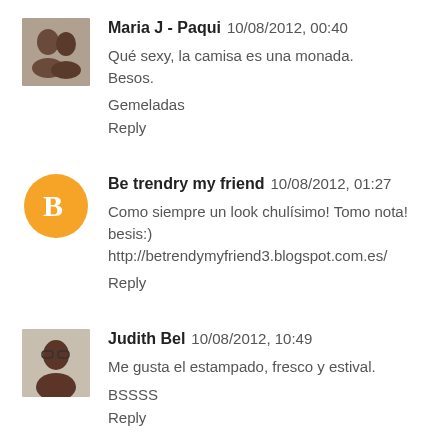Maria J - Paqui  10/08/2012, 00:40
Qué sexy, la camisa es una monada.
Besos.

Gemeladas

Reply
Be trendry my friend  10/08/2012, 01:27
Como siempre un look chulísimo! Tomo nota! besis:)
http://betrendymyfriend3.blogspot.com.es/

Reply
Judith Bel  10/08/2012, 10:49
Me gusta el estampado, fresco y estival.

BSSSS

Reply